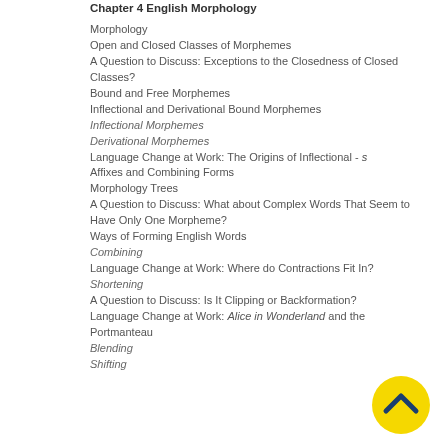Chapter 4  English Morphology
Morphology
Open and Closed Classes of Morphemes
A Question to Discuss: Exceptions to the Closedness of Closed Classes?
Bound and Free Morphemes
Inflectional and Derivational Bound Morphemes
Inflectional Morphemes
Derivational Morphemes
Language Change at Work: The Origins of Inflectional - s
Affixes and Combining Forms
Morphology Trees
A Question to Discuss: What about Complex Words That Seem to Have Only One Morpheme?
Ways of Forming English Words
Combining
Language Change at Work: Where do Contractions Fit In?
Shortening
A Question to Discuss: Is It Clipping or Backformation?
Language Change at Work: Alice in Wonderland and the Portmanteau
Blending
Shifting